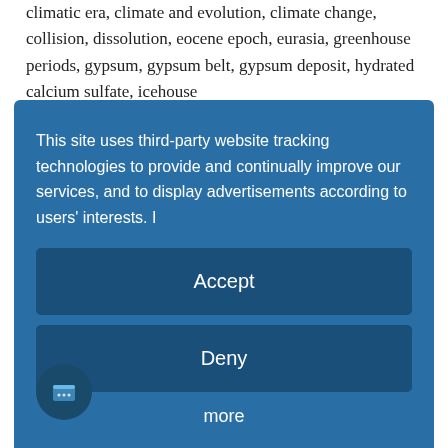climatic era, climate and evolution, climate change, collision, dissolution, eocene epoch, eurasia, greenhouse periods, gypsum, gypsum belt, gypsum deposit, hydrated calcium sulfate, icehouse
[Figure (screenshot): Cookie consent overlay dialog with blue background, showing text about third-party tracking, Accept and Deny buttons, a more link, and Powered by Usercentrics branding]
chemistry is characterized by long phases of stability, which are interrupted by short intervals of rapid change," says geoscientist Ulrich Wortmann of the University of Toronto, lead